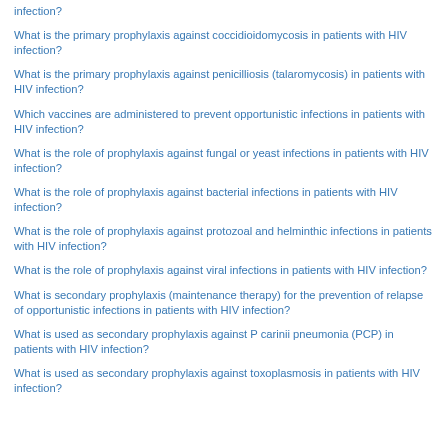infection?
What is the primary prophylaxis against coccidioidomycosis in patients with HIV infection?
What is the primary prophylaxis against penicilliosis (talaromycosis) in patients with HIV infection?
Which vaccines are administered to prevent opportunistic infections in patients with HIV infection?
What is the role of prophylaxis against fungal or yeast infections in patients with HIV infection?
What is the role of prophylaxis against bacterial infections in patients with HIV infection?
What is the role of prophylaxis against protozoal and helminthic infections in patients with HIV infection?
What is the role of prophylaxis against viral infections in patients with HIV infection?
What is secondary prophylaxis (maintenance therapy) for the prevention of relapse of opportunistic infections in patients with HIV infection?
What is used as secondary prophylaxis against P carinii pneumonia (PCP) in patients with HIV infection?
What is used as secondary prophylaxis against toxoplasmosis in patients with HIV infection?